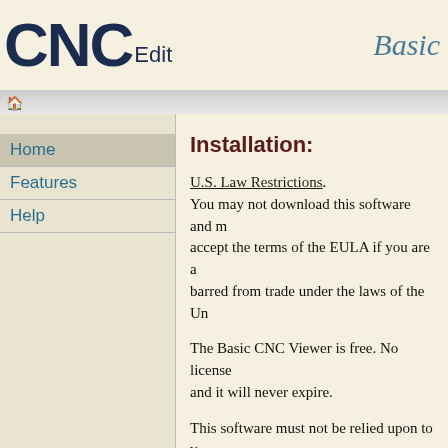CNCEdit Basic
Home
Features
Help
Installation:
U.S. Law Restrictions. You may not download this software and must not accept the terms of the EULA if you are a barred from trade under the laws of the Un...
The Basic CNC Viewer is free. No license... and it will never expire.
This software must not be relied upon to v... NC machine program for use in a commer... application. Please see the EULA for limit... and restrictions.